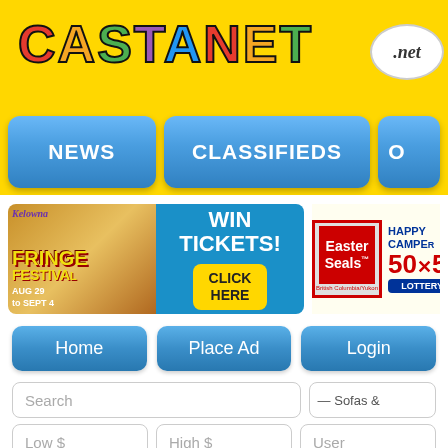[Figure (screenshot): Castanet.net website header with yellow background showing the Castanet logo in multicolor letters and a speech bubble with .net]
[Figure (screenshot): Navigation bar with NEWS, CLASSIFIEDS, and partial O button on blue rounded rectangles]
[Figure (screenshot): Kelowna Fringe Festival advertisement: WIN TICKETS! AUG 29 to SEPT 4, CLICK HERE]
[Figure (screenshot): Easter Seals Happy Camper 50x50 Lottery advertisement]
[Figure (screenshot): Navigation row with Home, Place Ad, Login buttons]
[Figure (screenshot): Search form with Search field, Sofas & category dropdown, Low $, High $, User fields]